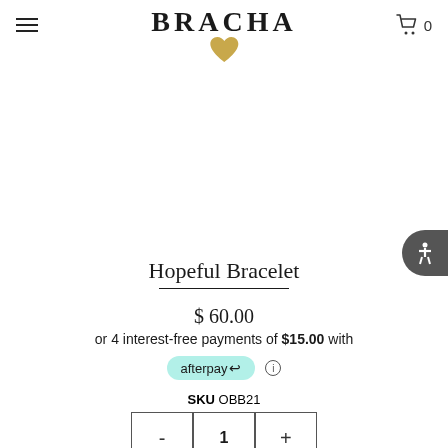BRACHA
Hopeful Bracelet
$ 60.00
or 4 interest-free payments of $15.00 with afterpay
SKU OBB21
- 1 +